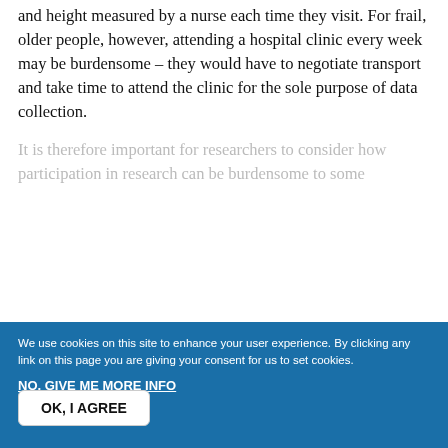and height measured by a nurse each time they visit. For frail, older people, however, attending a hospital clinic every week may be burdensome – they would have to negotiate transport and take time to attend the clinic for the sole purpose of data collection.
It is therefore important for researchers to consider how participation in research can be burdensome to some
We use cookies on this site to enhance your user experience. By clicking any link on this page you are giving your consent for us to set cookies. NO, GIVE ME MORE INFO
OK, I AGREE